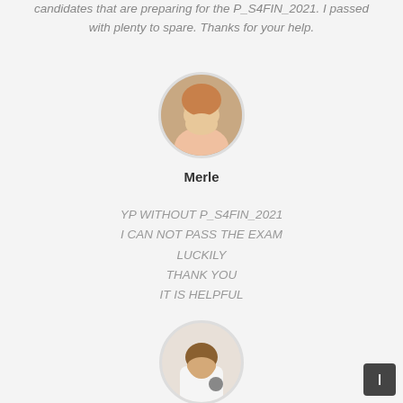candidates that are preparing for the P_S4FIN_2021. I passed with plenty to spare. Thanks for your help.
[Figure (photo): Circular profile photo of a woman named Merle with blonde hair, smiling outdoors.]
Merle
YP WITHOUT P_S4FIN_2021
I CAN NOT PASS THE EXAM
LUCKILY
THANK YOU
IT IS HELPFUL
[Figure (photo): Circular profile photo of a man in a white t-shirt.]